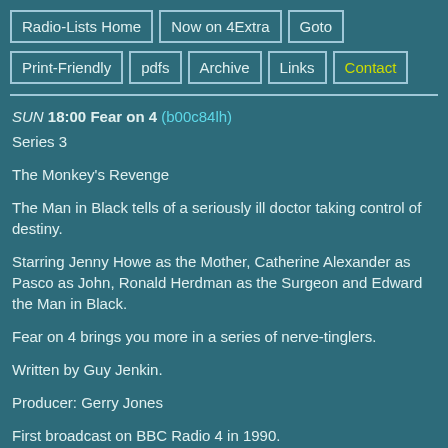Radio-Lists Home | Now on 4Extra | Goto | Print-Friendly | pdfs | Archive | Links | Contact
SUN 18:00 Fear on 4 (b00c84lh)
Series 3
The Monkey's Revenge
The Man in Black tells of a seriously ill doctor taking control of destiny.
Starring Jenny Howe as the Mother, Catherine Alexander as Pasco as John, Ronald Herdman as the Surgeon and Edward the Man in Black.
Fear on 4 brings you more in a series of nerve-tinglers.
Written by Guy Jenkin.
Producer: Gerry Jones
First broadcast on BBC Radio 4 in 1990.